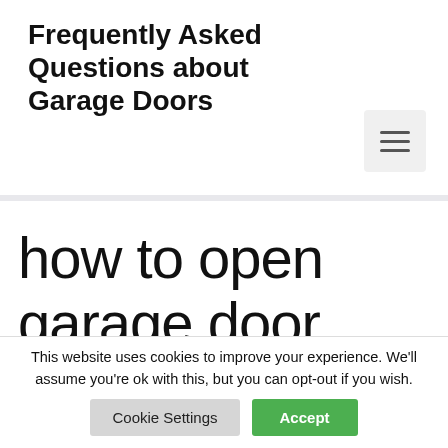Frequently Asked Questions about Garage Doors
[Figure (other): Hamburger menu icon button (three horizontal lines)]
how to open garage door after
This website uses cookies to improve your experience. We'll assume you're ok with this, but you can opt-out if you wish.
Cookie Settings    Accept